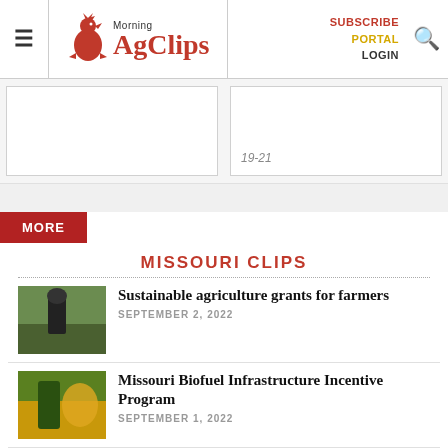Morning AgClips — SUBSCRIBE PORTAL LOGIN
[Figure (screenshot): Partial card showing italic date text '19-21']
MORE
MISSOURI CLIPS
Sustainable agriculture grants for farmers — SEPTEMBER 2, 2022
Missouri Biofuel Infrastructure Incentive Program — SEPTEMBER 1, 2022
Big wins for Prairie Farms at World Dairy